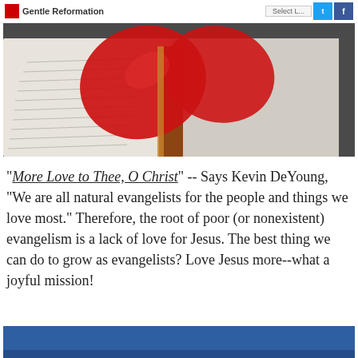Gentle Reformation
[Figure (photo): An open book with pages folded into a red heart shape, photographed on a dark surface]
"More Love to Thee, O Christ" -- Says Kevin DeYoung, "We are all natural evangelists for the people and things we love most." Therefore, the root of poor (or nonexistent) evangelism is a lack of love for Jesus. The best thing we can do to grow as evangelists? Love Jesus more--what a joyful mission!
[Figure (photo): Blue banner or image at the bottom of the page]